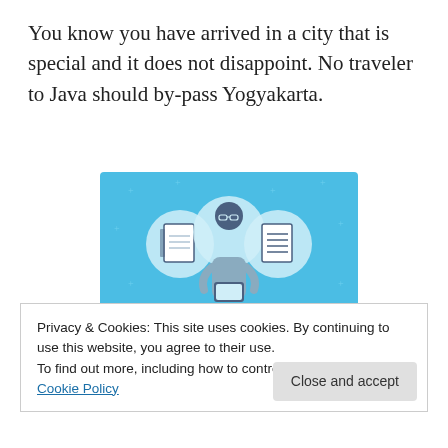You know you have arrived in a city that is special and it does not disappoint. No traveler to Java should by-pass Yogyakarta.
[Figure (illustration): Day One journaling app advertisement. Blue background with illustration of a person holding a phone, flanked by two circular icons showing a notebook and a list/document. Text reads 'DAY ONE' and 'The only journaling app you'll ever need.']
Privacy & Cookies: This site uses cookies. By continuing to use this website, you agree to their use.
To find out more, including how to control cookies, see here: Cookie Policy
Close and accept